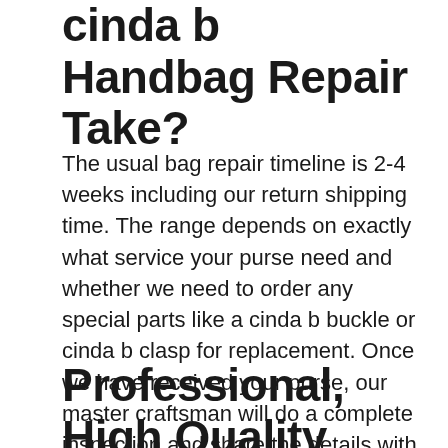cinda b Handbag Repair Take?
The usual bag repair timeline is 2-4 weeks including our return shipping time. The range depends on exactly what service your purse need and whether we need to order any special parts like a cinda b buckle or cinda b clasp for replacement. Once we have received your purse, our master craftsman will do a complete inspection and share the details with you.
Professional, High Quality cinda b